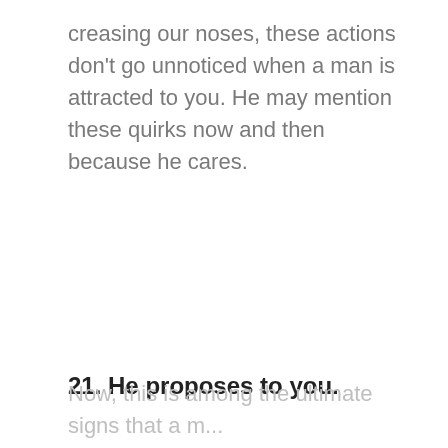creasing our noses, these actions don't go unnoticed when a man is attracted to you. He may mention these quirks now and then because he cares.
21. He proposes to you.
Now, this is among the ultimate signs that a m...